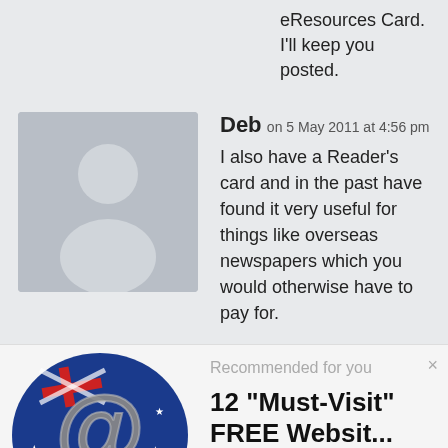eResources Card. I'll keep you posted.
Deb on 5 May 2011 at 4:56 pm
I also have a Reader's card and in the past have found it very useful for things like overseas newspapers which you would otherwise have to pay for.
[Figure (logo): Australian genealogy website logo — stylized @ symbol with Australian flag colors (blue, red, white), metallic 3D effect]
Recommended for you
12 "Must-Visit" FREE Websit...
www.gouldgenealogy.com